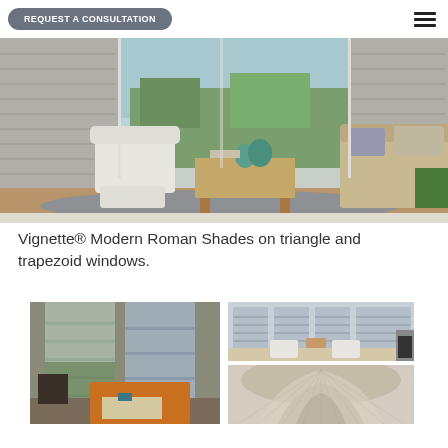REQUEST A CONSULTATION
[Figure (photo): Living room interior with white tufted armchair and ottoman, patterned sofa, wooden coffee table, and large windows dressed with modern Roman shades, showing a green outdoor view]
Vignette® Modern Roman Shades on triangle and trapezoid windows.
[Figure (photo): Modern living room with floor-to-ceiling windows covered with layered shades, orange/yellow sofa, dark wood side table and chair]
[Figure (photo): Bright room with tall arched windows dressed in pale blue horizontal shades, two white armchairs and a round table]
[Figure (photo): Close-up detail of a decorative window treatment or shade material with a fan/leaf pattern]